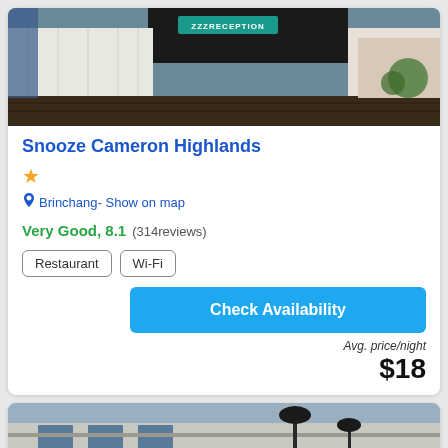[Figure (photo): Interior photo of Snooze Cameron Highlands hotel reception area with white paneled walls and dark wood flooring]
Snooze Cameron Highlands
★
Brinchang- Show on map
Very Good, 8.1 (314reviews)
Restaurant
Wi-Fi
Check Availability
Avg. price/night
$18
[Figure (photo): Exterior photo of another hotel building with lamp posts]